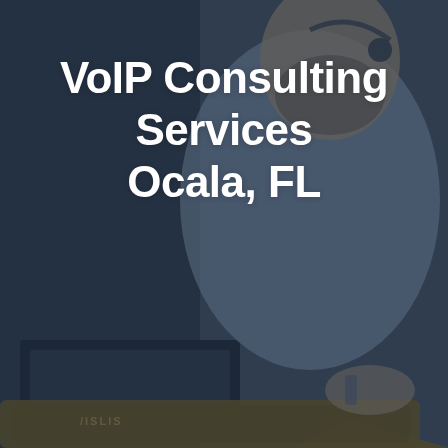[Figure (photo): A dark-tinted photo of a bearded man wearing a headset and a light blue shirt, working at a desk with an ASUS laptop. The image has a dark blue/navy overlay giving it a muted, professional tone.]
VoIP Consulting Services Ocala, FL